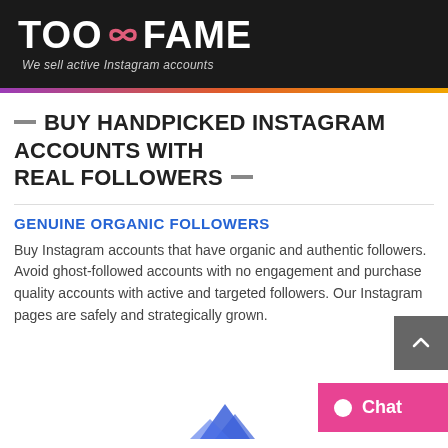[Figure (logo): TooFame logo with infinity symbol on dark background, tagline: We sell active Instagram accounts]
BUY HANDPICKED INSTAGRAM ACCOUNTS WITH REAL FOLLOWERS
GENUINE ORGANIC FOLLOWERS
Buy Instagram accounts that have organic and authentic followers. Avoid ghost-followed accounts with no engagement and purchase quality accounts with active and targeted followers. Our Instagram pages are safely and strategically grown.